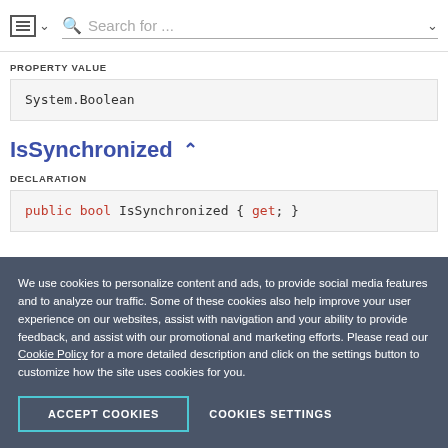Search for ...
PROPERTY VALUE
System.Boolean
IsSynchronized
DECLARATION
public bool IsSynchronized { get; }
We use cookies to personalize content and ads, to provide social media features and to analyze our traffic. Some of these cookies also help improve your user experience on our websites, assist with navigation and your ability to provide feedback, and assist with our promotional and marketing efforts. Please read our Cookie Policy for a more detailed description and click on the settings button to customize how the site uses cookies for you.
ACCEPT COOKIES
COOKIES SETTINGS